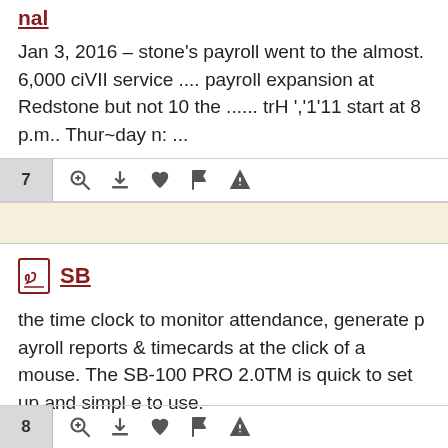nal
Jan 3, 2016 – stone's payroll went to the almost. 6,000 ciVil service .... payroll expansion at Redstone but not 10 the ...... trH ','1'11 start at 8 p.m.. Thur~day n: ...
7
SB
the time clock to monitor attendance, generate payroll reports & timecards at the click of a mouse. The SB-100 PRO 2.0TM is quick to set up and simple to use.
8